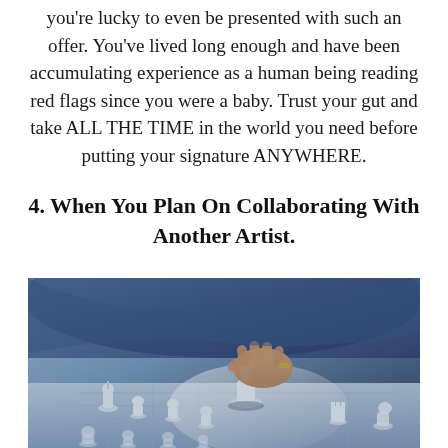you're lucky to even be presented with such an offer. You've lived long enough and have been accumulating experience as a human being reading red flags since you were a baby. Trust your gut and take ALL THE TIME in the world you need before putting your signature ANYWHERE.
4. When You Plan On Collaborating With Another Artist.
[Figure (photo): A person wearing a blue jacket moving a white chess king piece on a chess board, with other white chess pieces arranged on the board, photographed from above at an angle.]